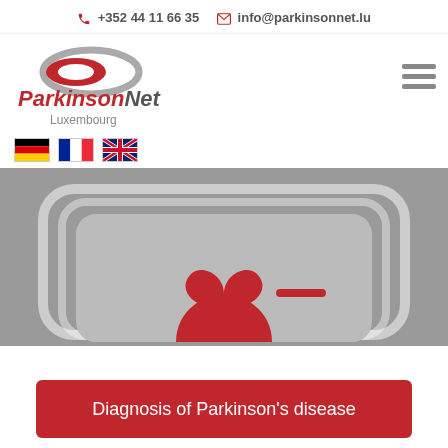+352 44 11 66 35   info@parkinsonnet.lu
[Figure (logo): ParkinsonNet Luxembourg logo with ellipse graphic and red italic text]
[Figure (other): Hamburger menu icon (three horizontal lines)]
[Figure (other): Three country flags: German, French, British]
[Figure (illustration): Grey hero banner with nested rounded rectangles and partial ParkinsonNet logo (red heart/double-P shape) visible at bottom]
Diagnosis of Parkinson's disease